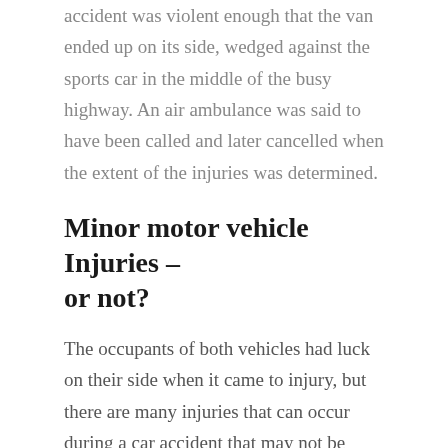accident was violent enough that the van ended up on its side, wedged against the sports car in the middle of the busy highway. An air ambulance was said to have been called and later cancelled when the extent of the injuries was determined.
Minor motor vehicle Injuries – or not?
The occupants of both vehicles had luck on their side when it came to injury, but there are many injuries that can occur during a car accident that may not be immediately visible. That's why it's important to always seek medical treatment right away. Some types of injuries, such as whiplash or deep tissue damage, may not be present immediately following